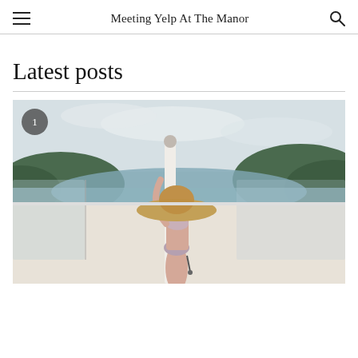Meeting Yelp At The Manor
Latest posts
[Figure (photo): Person in a wide-brim straw hat and bikini standing on a balcony with glass railings and a scenic coastal view with hills and overcast sky]